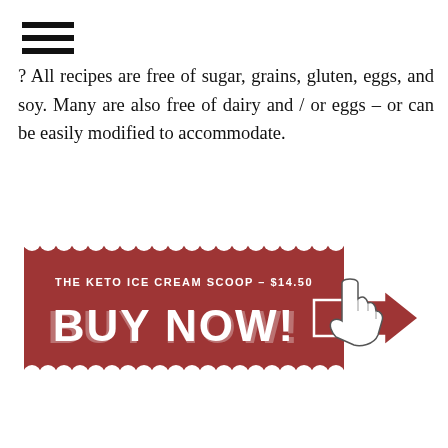[Figure (illustration): Hamburger menu icon with three horizontal lines]
? All recipes are free of sugar, grains, gluten, eggs, and soy. Many are also free of dairy and / or eggs – or can be easily modified to accommodate.
[Figure (illustration): Red scalloped button with text 'THE KETO ICE CREAM SCOOP – $14.50' and 'BUY NOW!' with a hand cursor and arrow pointing right]